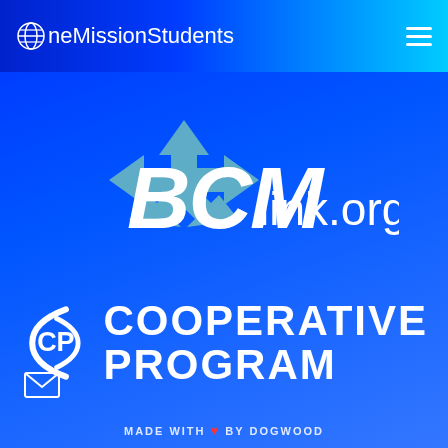OneMissionStudents
[Figure (logo): BCMlink.org logo with four arrows pointing outward in green/teal colors, overlaid with stylized BCM text and 'link.org' in white]
[Figure (logo): Cooperative Program (CP) logo — white circular bracket design with CP initials, followed by 'COOPERATIVE PROGRAM' in large bold white text]
MADE WITH ♥ BY DOGWOOD